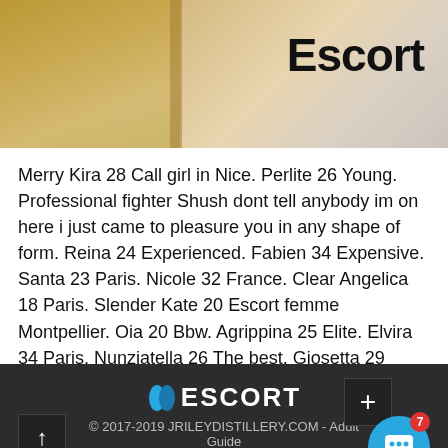[Figure (photo): Banner image with wooden/desk background and large bold text 'Escort' on the right side]
Merry Kira 28 Call girl in Nice. Perlite 26 Young. Professional fighter Shush dont tell anybody im on here i just came to pleasure you in any shape of form. Reina 24 Experienced. Fabien 34 Expensive. Santa 23 Paris. Nicole 32 France. Clear Angelica 18 Paris. Slender Kate 20 Escort femme Montpellier. Oia 20 Bbw. Agrippina 25 Elite. Elvira 34 Paris. Nunziatella 26 The best. Giosetta 29 Lovely. Kimberly 30 Paris. Inga 32 Lesbian. Beautiful Genevra 25 Best Prostitute in Paris.
ESCORT © 2017-2019 JRILEYDISTILLERY.COM - Adult Guide